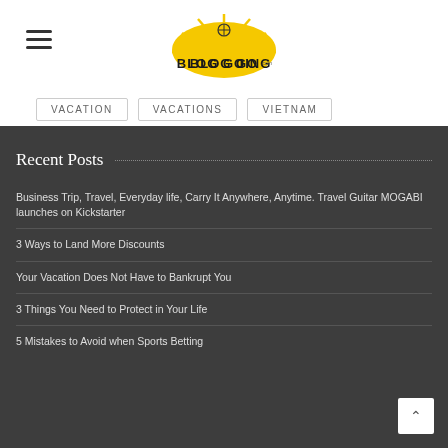[Figure (logo): Blog Going logo with yellow sunburst and compass rose graphic above bold text 'BLOG GOING']
VACATION
VACATIONS
VIETNAM
Recent Posts
Business Trip, Travel, Everyday life, Carry It Anywhere, Anytime. Travel Guitar MOGABI launches on Kickstarter
3 Ways to Land More Discounts
Your Vacation Does Not Have to Bankrupt You
3 Things You Need to Protect in Your Life
5 Mistakes to Avoid when Sports Betting